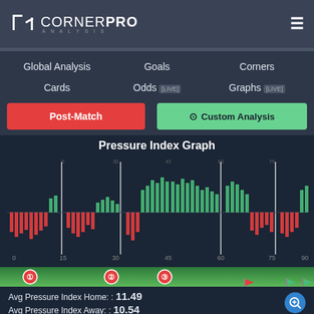CORNER PRO ANALYSIS
Global Analysis
Goals
Corners
Cards
Odds [LIVE]
Graphs [LIVE]
Post-Match
⊙ Custom Analysis
Pressure Index Graph
[Figure (bar-chart): Pressure index bar chart showing home (green, upward) and away (red, downward) pressure over match minutes 0-90. Vertical white lines mark key moments. X-axis shows minutes: 0, 15, 30, 45, 60, 75, 90.]
Avg Pressure Index Home: : 11.49
Avg Pressure Index Away: : 10.54